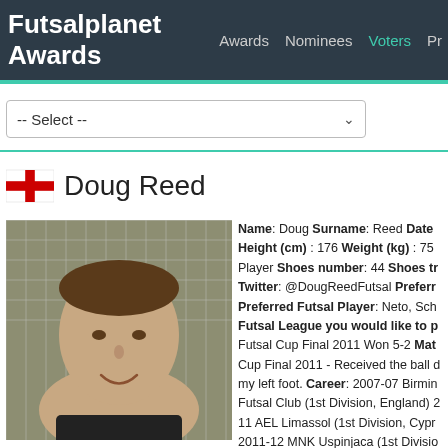Futsalplanet Awards — Awards  Nominees  Voters  Pr…
Doug Reed
[Figure (photo): Portrait photo of Doug Reed, a man smiling in front of a futsal goal net, wearing a dark shirt.]
Name: Doug Surname: Reed Date Height (cm) : 176 Weight (kg) : 75 Player Shoes number: 44 Shoes tr… Twitter: @DougReedFutsal Preferr… Preferred Futsal Player: Neto, Sch… Futsal League you would like to p… Futsal Cup Final 2011 Won 5-2 Mat… Cup Final 2011 - Received the ball … my left foot. Career: 2007-07 Birmin… Futsal Club (1st Division, England) 2… 11 AEL Limassol (1st Division, Cypr… 2011-12 MNK Uspinjaca (1st Divisio…